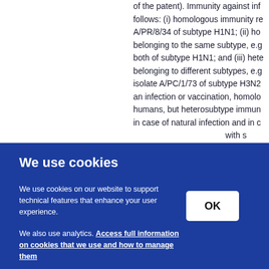of the patent). Immunity against inf follows: (i) homologous immunity re A/PR/8/34 of subtype H1N1; (ii) ho belonging to the same subtype, e.g both of subtype H1N1; and (iii) hete belonging to different subtypes, e.g isolate A/PC/1/73 of subtype H3N2 an infection or vaccination, homolo humans, but heterosubtype immu in case of natural infection and in c with s ] of th n bin ing a /PC/ s pos ne w
We use cookies
We use cookies on our website to support technical features that enhance your user experience.
We also use analytics. Access full information on cookies that we use and how to manage them